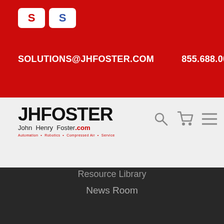[Figure (logo): JH Foster website header with red background, two Snap-on tool brand badges, email SOLUTIONS@JHFOSTER.COM and phone 855.688.0043]
[Figure (logo): JH Foster navigation bar with JHFOSTER John Henry Foster.com logo, search icon, cart icon, and hamburger menu icon]
Resource Library
News Room
ABOUT US
Locations
Contact Us
Industries
Careers
Privacy
Terms and Conditions